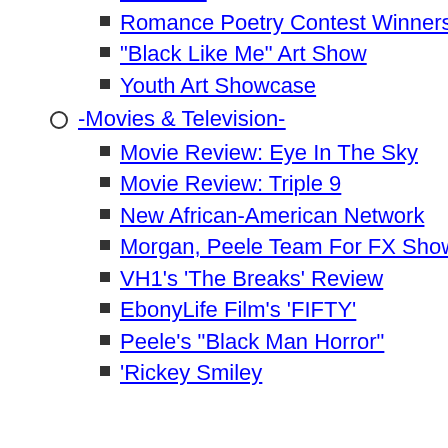Awarded
Romance Poetry Contest Winners
"Black Like Me" Art Show
Youth Art Showcase
-Movies & Television-
Movie Review: Eye In The Sky
Movie Review: Triple 9
New African-American Network
Morgan, Peele Team For FX Show
VH1's 'The Breaks' Review
EbonyLife Film's 'FIFTY'
Peele's "Black Man Horror"
'Rickey Smiley